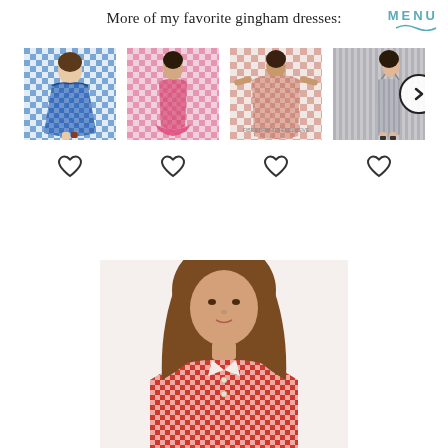More of my favorite gingham dresses:
[Figure (screenshot): Navigation menu button labeled MENU with teal color and wavy underline, top right corner]
[Figure (photo): Four gingham dress product photos in a row: blue/white gingham asymmetric dress, pink gingham ruffle hem dress, pink/white oversized gingham dress labeled FIBRE BRANDS EXCLUSIVE, gray striped cami dress with a right arrow navigation button overlay]
[Figure (photo): Heart/like icons below each dress photo, four total outline hearts]
[Figure (photo): Close-up photo of a woman wearing a red and white gingham shirt dress, brown hair, neutral expression, visible from shoulders up with collar detail]